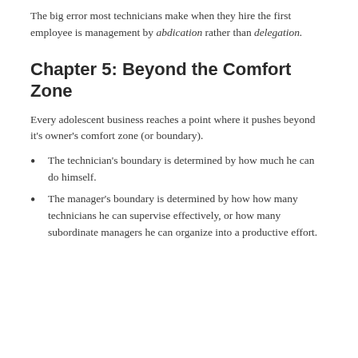The big error most technicians make when they hire the first employee is management by abdication rather than delegation.
Chapter 5: Beyond the Comfort Zone
Every adolescent business reaches a point where it pushes beyond it’s owner’s comfort zone (or boundary).
The technician’s boundary is determined by how much he can do himself.
The manager’s boundary is determined by how how many technicians he can supervise effectively, or how many subordinate managers he can organize into a productive effort.